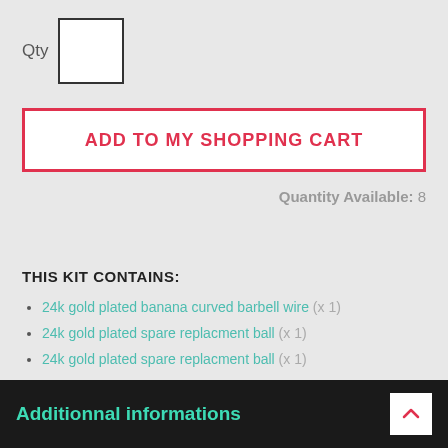Qty [input box]
ADD TO MY SHOPPING CART
Quantity Available: 8
THIS KIT CONTAINS:
24k gold plated banana curved barbell wire (x 1)
24k gold plated spare replacment ball (x 1)
24k gold plated spare replacment ball (x 1)
Additionnal informations